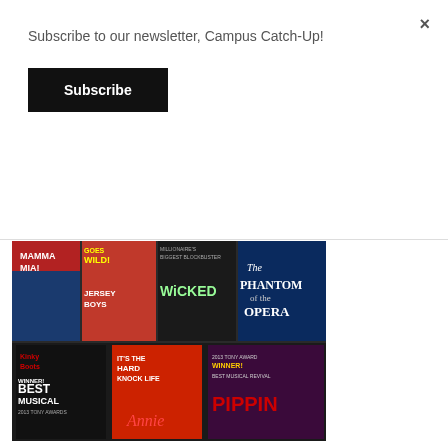Subscribe to our newsletter, Campus Catch-Up!
Subscribe
[Figure (photo): Broadway musical posters displayed on a rack, showing Mamma Mia!, Jersey Boys, Wicked, The Phantom of the Opera, Kinky Boots (Best Musical 2013 Tony Awards), Annie, and Pippin (Best Musical Revival 2013 Tony Award Winner)]
4 years 8 months ago
So you like musicals, now what?
Recent productions like Hamilton and Dear Evan Hansen have really put musicals back on the map for our generation. They've infiltrated mainstream media and have rejoined the socially-